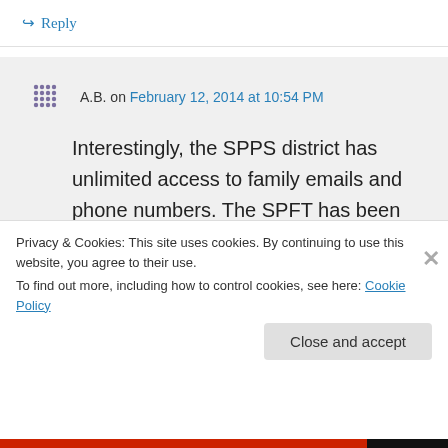↪ Reply
A.B. on February 12, 2014 at 10:54 PM
Interestingly, the SPPS district has unlimited access to family emails and phone numbers. The SPFT has been denied access to any of that information. Therefor, all information that will be sent to families may be primarily from SPPS and
Privacy & Cookies: This site uses cookies. By continuing to use this website, you agree to their use.
To find out more, including how to control cookies, see here: Cookie Policy